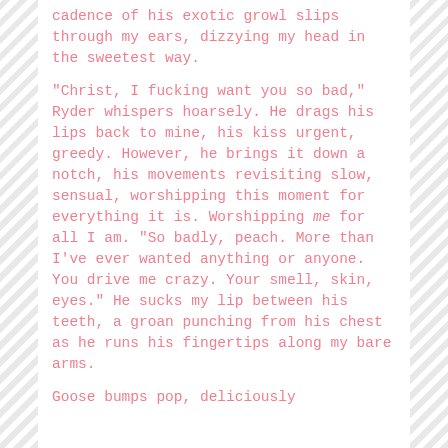cadence of his exotic growl slips through my ears, dizzying my head in the sweetest way.

"Christ, I fucking want you so bad," Ryder whispers hoarsely. He drags his lips back to mine, his kiss urgent, greedy. However, he brings it down a notch, his movements revisiting slow, sensual, worshipping this moment for everything it is. Worshipping me for all I am. "So badly, peach. More than I've ever wanted anything or anyone. You drive me crazy. Your smell, skin, eyes." He sucks my lip between his teeth, a groan punching from his chest as he runs his fingertips along my bare arms.

Goose bumps pop, deliciously